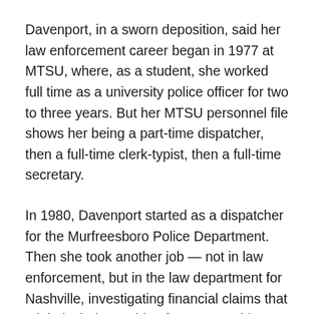Davenport, in a sworn deposition, said her law enforcement career began in 1977 at MTSU, where, as a student, she worked full time as a university police officer for two to three years. But her MTSU personnel file shows her being a part-time dispatcher, then a full-time clerk-typist, then a full-time secretary.
In 1980, Davenport started as a dispatcher for the Murfreesboro Police Department. Then she took another job — not in law enforcement, but in the law department for Nashville, investigating financial claims that might include anything from car accidents to slip-and-falls.
At night, Davenport went to law school. She graduated in 1986. That same year, she told lawyers in a deposition, “I started with the feds.” She told radio listeners that for eight years she was “with the U.S. Justice Department, where I